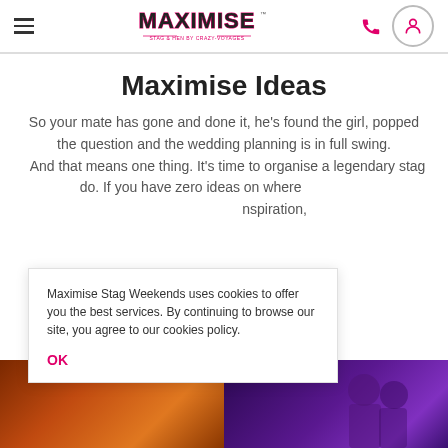Maximise — Stag & Hen by Crazy-Voyages header with navigation icons
Maximise Ideas
So your mate has gone and done it, he's found the girl, popped the question and the wedding planning is in full swing. And that means one thing. It's time to organise a legendary stag do. If you have zero ideas on where to start for inspiration,
[Figure (photo): Two side-by-side photos at the bottom: left shows fire/orange tones, right shows people at a nightclub with purple/pink lighting]
Maximise Stag Weekends uses cookies to offer you the best services. By continuing to browse our site, you agree to our cookies policy. OK